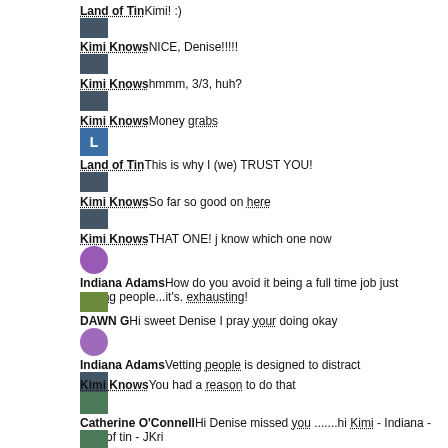Land of TinKimi! :)
[Figure (photo): Small thumbnail avatar image, dark landscape]
Kimi KnowsNICE, Denise!!!!!
[Figure (photo): Small thumbnail avatar image, dark landscape]
Kimi Knowshmmm, 3/3, huh?
[Figure (photo): Small thumbnail avatar image, dark landscape]
Kimi KnowsMoney grabs
[Figure (photo): Blue square avatar with letter L]
Land of TinThis is why I (we) TRUST YOU!
[Figure (photo): Small thumbnail avatar image, dark landscape]
Kimi KnowsSo far so good on here
[Figure (photo): Small thumbnail avatar image, dark landscape]
Kimi KnowsTHAT ONE! j know which one now
[Figure (photo): Purple circle avatar]
Indiana AdamsHow do you avoid it being a full time job just getting people...it's. exhausting!
[Figure (photo): Colorful landscape avatar]
DAWN GHi sweet Denise I pray your doing okay
[Figure (photo): Purple circle avatar]
Indiana AdamsVetting people is designed to distract
[Figure (photo): Small thumbnail avatar image, dark landscape]
Kimi KnowsYou had a reason to do that
[Figure (photo): Colorful avatar thumbnail]
Catherine O'ConnellHi Denise missed you .......hi Kimi - Indiana - land of tin - JKri
[Figure (photo): Colorful avatar thumbnail]
Catherine O'ConnellHi Dawn G
[Figure (photo): Small thumbnail avatar image, dark landscape]
Kimi KnowsHi Catherine